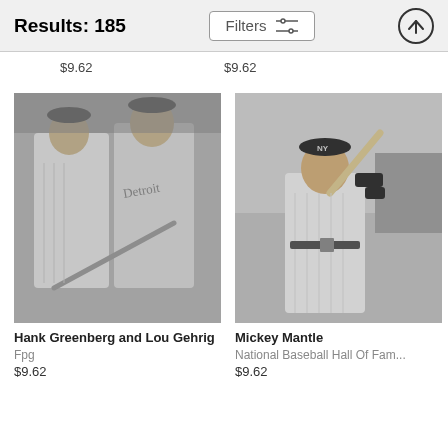Results: 185
Filters
$9.62   $9.62
[Figure (photo): Black and white photograph of Hank Greenberg and Lou Gehrig in baseball uniforms, holding a bat together]
Hank Greenberg and Lou Gehrig
Fpg
$9.62
[Figure (photo): Black and white photograph of Mickey Mantle in New York Yankees uniform in batting stance]
Mickey Mantle
National Baseball Hall Of Fam...
$9.62